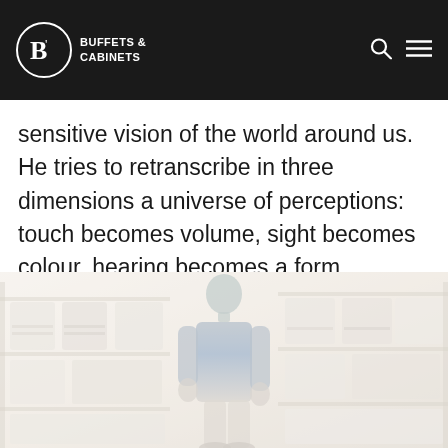BUFFETS & CABINETS
sensitive vision of the world around us. He tries to retranscribe in three dimensions a universe of perceptions: touch becomes volume, sight becomes colour, hearing becomes a form.
[Figure (photo): A washed-out, faded photograph of a store interior showing shelving units with furniture/cabinet items and a person standing in the centre wearing a blue apron or outfit.]